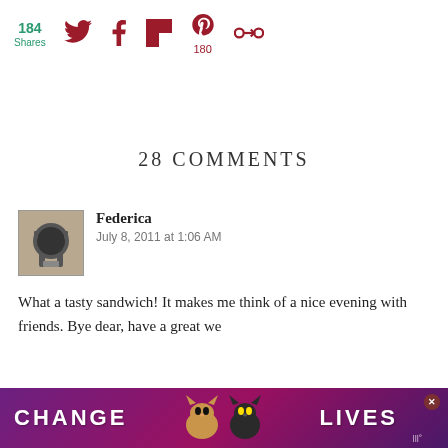184 Shares
28 COMMENTS
Federica
July 8, 2011 at 1:06 AM
What a tasty sandwich! It makes me think of a nice evening with friends. Bye dear, have a great we
Federica
July 8, 2011 at 1:06 AM
What a tasty sandwich! It makes me think of a nice evening
[Figure (infographic): Purple/pink advertisement banner at bottom reading CHANGE LIVES with cat images]
[Figure (infographic): WHAT'S NEXT arrow with Pizza Dough Recipes thumbnail]